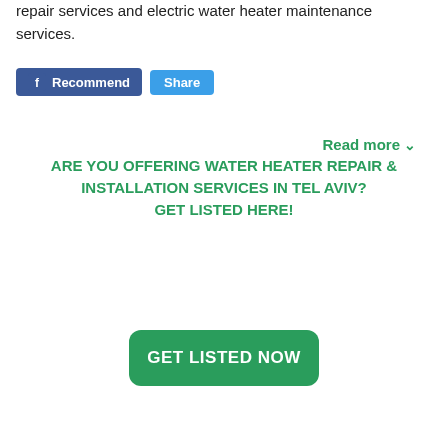repair services and electric water heater maintenance services.
[Figure (screenshot): Facebook Recommend and Share buttons, and a Read more link]
ARE YOU OFFERING WATER HEATER REPAIR & INSTALLATION SERVICES IN TEL AVIV? GET LISTED HERE!
[Figure (screenshot): GET LISTED NOW green button]